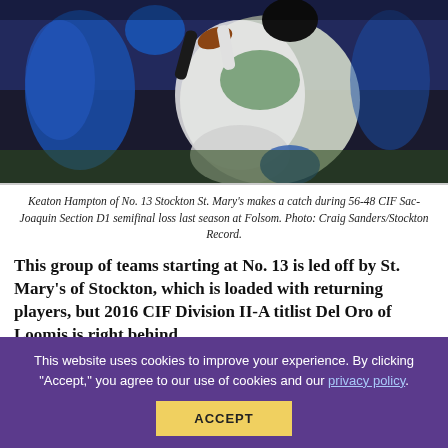[Figure (photo): Football action photo showing Keaton Hampton of No. 13 Stockton St. Mary's making a catch, players in blue and white/green uniforms, night game setting]
Keaton Hampton of No. 13 Stockton St. Mary's makes a catch during 56-48 CIF Sac-Joaquin Section D1 semifinal loss last season at Folsom. Photo: Craig Sanders/Stockton Record.
This group of teams starting at No. 13 is led off by St. Mary's of Stockton, which is loaded with returning players, but 2016 CIF Division II-A titlist Del Oro of Loomis is right behind.
This website uses cookies to improve your experience. By clicking "Accept," you agree to our use of cookies and our privacy policy.